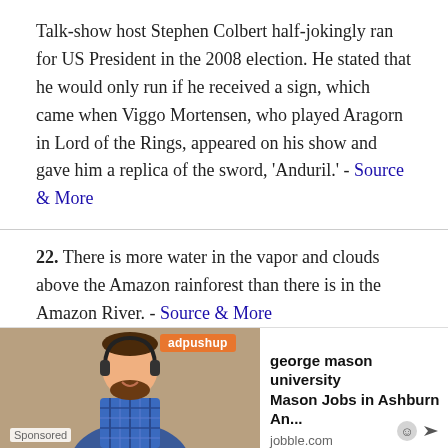Talk-show host Stephen Colbert half-jokingly ran for US President in the 2008 election. He stated that he would only run if he received a sign, which came when Viggo Mortensen, who played Aragorn in Lord of the Rings, appeared on his show and gave him a replica of the sword, 'Anduril.' - Source & More
22. There is more water in the vapor and clouds above the Amazon rainforest than there is in the Amazon River. - Source & More
23. The first reported successful blood transfusions were performed by the Incas as early as the 1500s. Spanish conquistadors witnessed blood transfusions when they arrived in the 1...
[Figure (infographic): Sponsored advertisement overlay with adpushup branding, showing a person with headphones and text: 'george mason university Mason Jobs in Ashburn An...' from jobble.com]